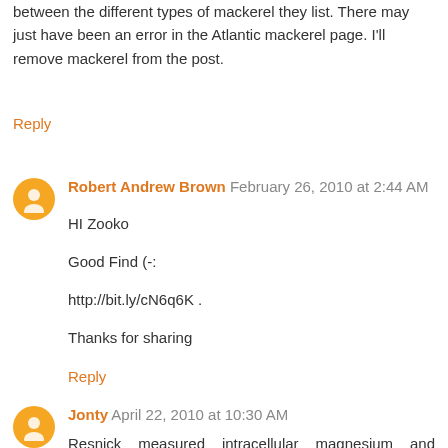between the different types of mackerel they list. There may just have been an error in the Atlantic mackerel page. I'll remove mackerel from the post.
Reply
Robert Andrew Brown  February 26, 2010 at 2:44 AM
HI Zooko

Good Find (-:

http://bit.ly/cN6q6K .

Thanks for sharing
Reply
Jonty  April 22, 2010 at 10:30 AM
Resnick measured intracellular magnesium and calcium ions directly with NMR, found that the more elements of MetS, the lower the Mgi and the higher the Cai